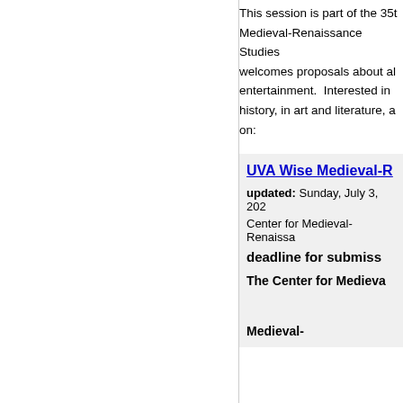This session is part of the 35th Medieval-Renaissance Studies welcomes proposals about all entertainment. Interested in history, in art and literature, a on:
UVA Wise Medieval-R
updated: Sunday, July 3, 202 Center for Medieval-Renaissa deadline for submiss The Center for Medieva Medieval-